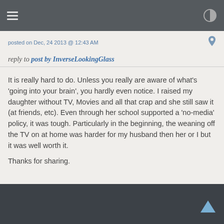posted on Dec, 24 2013 @ 12:43 AM
reply to post by InverseLookingGlass
It is really hard to do. Unless you really are aware of what's 'going into your brain', you hardly even notice. I raised my daughter without TV, Movies and all that crap and she still saw it (at friends, etc). Even through her school supported a 'no-media' policy, it was tough. Particularly in the beginning, the weaning off the TV on at home was harder for my husband then her or I but it was well worth it.

Thanks for sharing.